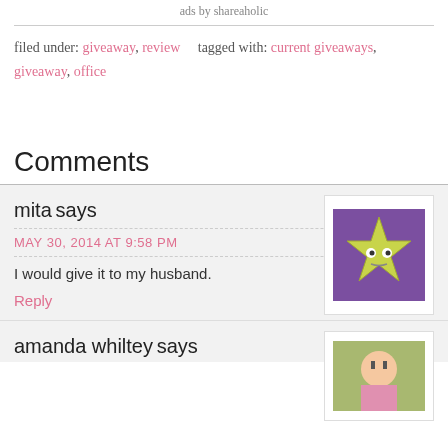ads by shareaholic
filed under: giveaway, review   tagged with: current giveaways, giveaway, office
Comments
mita says
MAY 30, 2014 AT 9:58 PM
I would give it to my husband.
Reply
amanda whiltey says